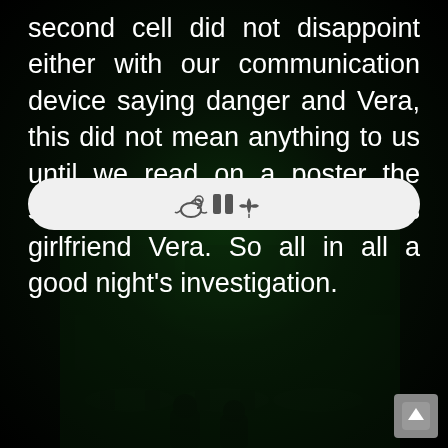second cell did not disappoint either with our communication device saying danger and Vera, this did not mean anything to us until we read on a poster the story of a man arrested and his girlfriend Vera. So all in all a good night's investigation.
[Figure (other): A rounded pill-shaped button bar with decorative icons (snail, pause, leaf symbols) in grey on white background]
[Figure (photo): Dark atmospheric background image showing a shadowy green-tinted building facade with windows, tables and chairs visible in the lower portion]